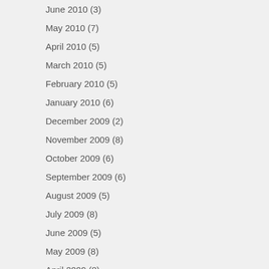June 2010 (3)
May 2010 (7)
April 2010 (5)
March 2010 (5)
February 2010 (5)
January 2010 (6)
December 2009 (2)
November 2009 (8)
October 2009 (6)
September 2009 (6)
August 2009 (5)
July 2009 (8)
June 2009 (5)
May 2009 (8)
April 2009 (8)
March 2009 (7)
February 2009 (5)
January 2009 (5)